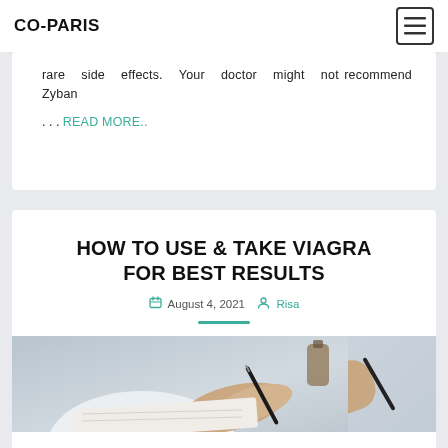CO-PARIS
rare side effects. Your doctor might not recommend Zyban
… READ MORE..
HOW TO USE & TAKE VIAGRA FOR BEST RESULTS
August 4, 2021  Risa
[Figure (photo): Close-up photo of a doctor or medical professional writing in a notebook or prescription pad, wearing a white coat, with hands and pen visible]